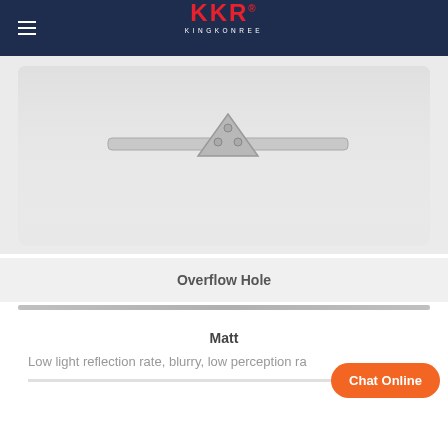KKR KINGKONREE
[Figure (photo): Close-up photo of a sink overflow hole fitting — a triangular/arrow-shaped stainless steel bracket attached to a white sink surface]
Overflow Hole
Matt
Low light reflection rate, blurry, low perception ra...